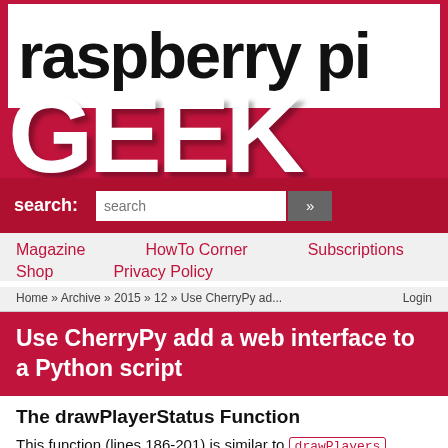[Figure (logo): Raspberry Pi Geek magazine logo with red background and large white GEEK text]
search: [search input] »
Magazine
HowTo Corner
Subscriptions
Shop
Privacy Policy
Home » Archive » 2015 » 12 » Use CherryPy ad...    Login
Use CherryPy add a web interface to a Python script
The drawPlayerStatus Function
This function (lines 186-201) is similar to drawPlayers discussed